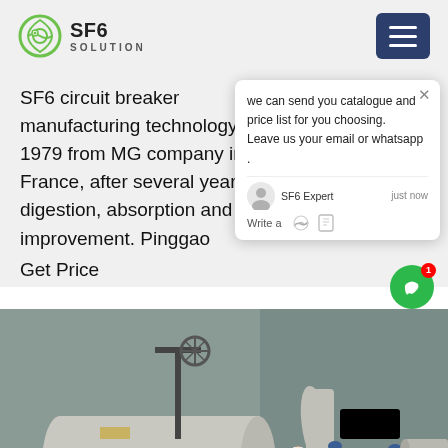SF6 SOLUTION
SF6 circuit breaker manufacturing technology in 1979 from MG company in France, after several years of digestion, absorption and improvement. Pinggao
Get Price
we can send you catalogue and price list for you choosing. Leave us your email or whatsapp .
SF6 Expert    just now
Write a
[Figure (photo): Industrial SF6 circuit breaker equipment and workers in protective gear working on large cylindrical tanks and pipes at an outdoor electrical substation site.]